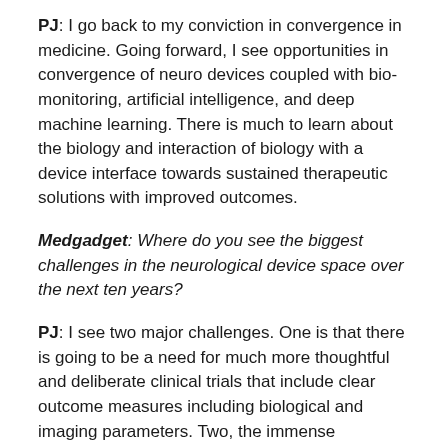PJ: I go back to my conviction in convergence in medicine. Going forward, I see opportunities in convergence of neuro devices coupled with bio-monitoring, artificial intelligence, and deep machine learning. There is much to learn about the biology and interaction of biology with a device interface towards sustained therapeutic solutions with improved outcomes.
Medgadget: Where do you see the biggest challenges in the neurological device space over the next ten years?
PJ: I see two major challenges. One is that there is going to be a need for much more thoughtful and deliberate clinical trials that include clear outcome measures including biological and imaging parameters. Two, the immense consolidation in the industry that may not naturally allow for disruptive innovation which requires sustained funding and commercial access. We need to address both of these